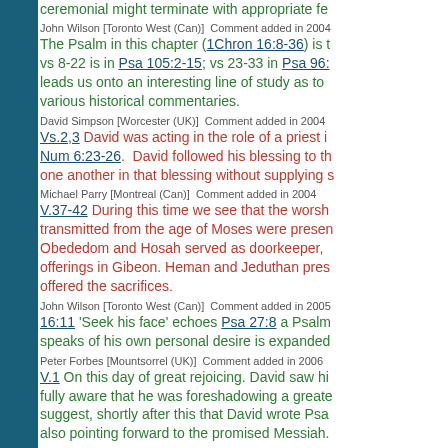ceremonial might terminate with appropriate fe
John Wilson [Toronto West (Can)]  Comment added in 2004
The Psalm in this chapter (1Chron 16:8-36) is t vs 8-22 is in Psa 105:2-15; vs 23-33 in Psa 96: leads us onto an interesting line of study as to various historical commentaries.
David Simpson [Worcester (UK)]  Comment added in 2004
Vs.2,3 David was acting in the role of a priest i Num 6:23-26. David followed his blessing to th one another in that blessing without supplying s
Michael Parry [Montreal (Can)]  Comment added in 2004
V.37-42 During this time we see that the worsh transmitted from the age of Moses were presen Obededom and Hosah served as doorkeeper, offerings in Gibeon. Heman and Jeduthan pres offered the sacrifices.
John Wilson [Toronto West (Can)]  Comment added in 2005
16:11 'Seek his face' echoes Psa 27:8 a Psalm speaks of his own personal desire is expanded
Peter Forbes [Mountsorrel (UK)]  Comment added in 2006
V.1 On this day of great rejoicing. David saw hi fully aware that he was foreshadowing a greate suggest, shortly after this that David wrote Psa also pointing forward to the promised Messiah.
John Wilson [Toronto West (Can)]  Comment added in 2006
Vs.7-36 David assigned a psalm to Asaph. The
Michael Parry [Montreal (Can)]  Comment added in 2006
16:2 Jesus blessed the disciples – Luke 24:50 Melchisedec and mirrored David's actions here